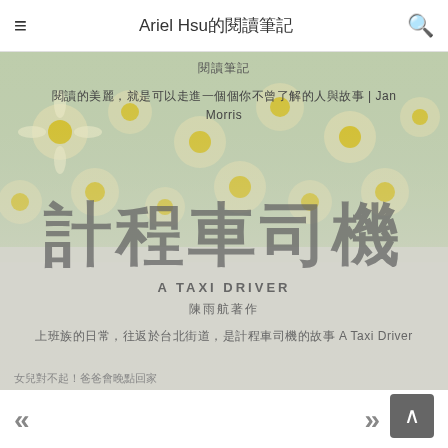≡   Ariel Hsu的閱讀筆記   🔍
[Figure (photo): Hero image showing a book cover for 計程車司機 (A Taxi Driver) overlaid on a background of daisy/chamomile flowers. Contains text overlay with Chinese and English title, subtitle, and description.]
閱讀筆記
閱讀的美麗，就是可以走進一個個你不曾了解的人與故事 | Jan Morris
計程車司機
A TAXI DRIVER
陳雨航著作
上班族的日常，往返於台北街道，是計程車司機的故事 A Taxi Driver
女兒對不起！爸爸會晚點回家
請用香重心滿滿當地走回個人走…我承親何去